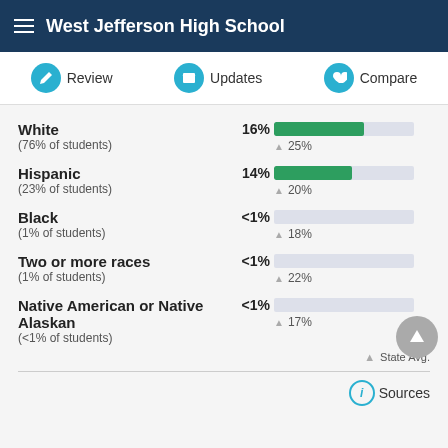West Jefferson High School
Review | Updates | Compare
White (76% of students) 16% — State Avg. 25%
Hispanic (23% of students) 14% — State Avg. 20%
Black (1% of students) <1% — State Avg. 18%
Two or more races (1% of students) <1% — State Avg. 22%
Native American or Native Alaskan (<1% of students) <1% — State Avg. 17%
▲ State Avg.
Sources